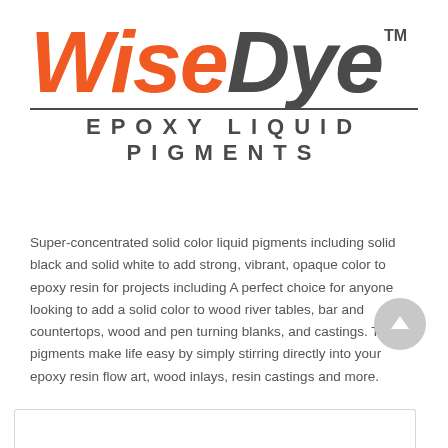[Figure (logo): WiseDye TM logo with orange italic 'Wise' and dark gray italic 'Dye', followed by 'EPOXY LIQUID PIGMENTS' subtitle]
Super-concentrated solid color liquid pigments including solid black and solid white to add strong, vibrant, opaque color to epoxy resin for projects including A perfect choice for anyone looking to add a solid color to wood river tables, bar and countertops, wood and pen turning blanks, and castings. These pigments make life easy by simply stirring directly into your epoxy resin flow art, wood inlays, resin castings and more.